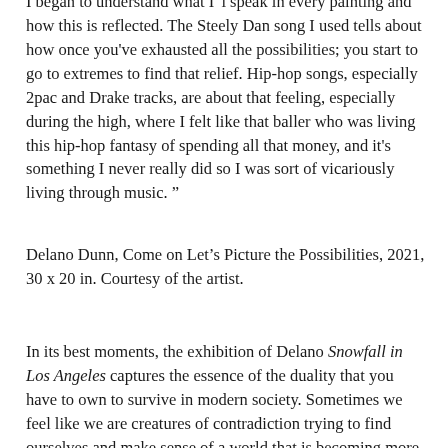Dunn explained: 'But in the end I started do this process by which I began to understand what I 'i speak in every painting and how this is reflected. The Steely Dan song I used tells about how once you've exhausted all the possibilities; you start to go to extremes to find that relief. Hip-hop songs, especially 2pac and Drake tracks, are about that feeling, especially during the high, where I felt like that baller who was living this hip-hop fantasy of spending all that money, and it's something I never really did so I was sort of vicariously living through music. ”
Delano Dunn, Come on Let’s Picture the Possibilities, 2021, 30 x 20 in. Courtesy of the artist.
In its best moments, the exhibition of Delano Snowfall in Los Angeles captures the essence of the duality that you have to own to survive in modern society. Sometimes we feel like we are creatures of contradiction trying to find ourselves and make sense of a world that is becoming more and more confused further you dig. In his work, vibrant colors echo fleeting visions of